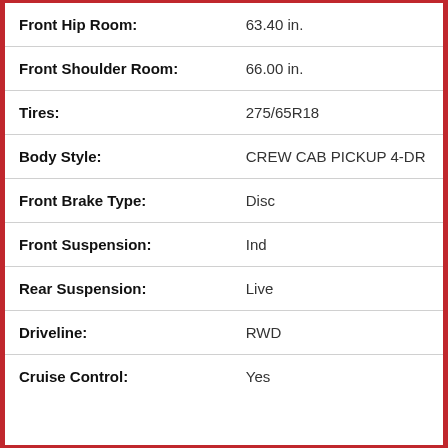| Attribute | Value |
| --- | --- |
| Front Hip Room: | 63.40 in. |
| Front Shoulder Room: | 66.00 in. |
| Tires: | 275/65R18 |
| Body Style: | CREW CAB PICKUP 4-DR |
| Front Brake Type: | Disc |
| Front Suspension: | Ind |
| Rear Suspension: | Live |
| Driveline: | RWD |
| Cruise Control: | Yes |